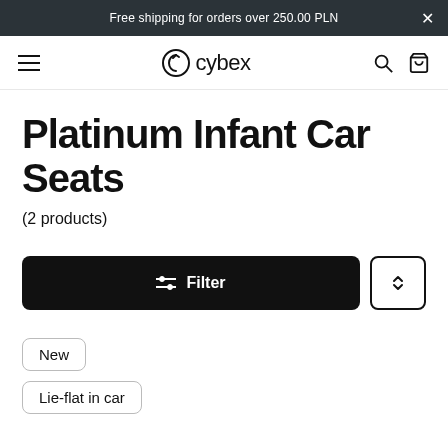Free shipping for orders over 250.00 PLN
[Figure (logo): Cybex logo with circular arrow icon and wordmark 'cybex']
Platinum Infant Car Seats
(2 products)
Filter
New
Lie-flat in car